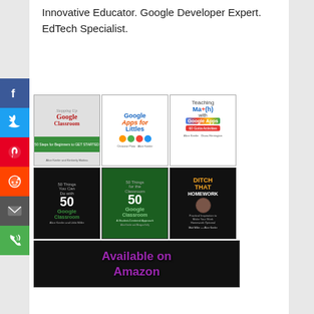Innovative Educator. Google Developer Expert. EdTech Specialist.
[Figure (illustration): Social media share sidebar with icons for Facebook, Twitter, Pinterest, Reddit, Email, and Phone]
[Figure (illustration): Grid of 6 book covers including 'Stepping Up Google Classroom', 'Google Apps for Littles', 'Teaching Math with Google Apps', '50 Things Google Classroom', '50 Google Classroom A Student-Centered Approach', and 'Ditch That Homework', plus an 'Available on Amazon' banner]